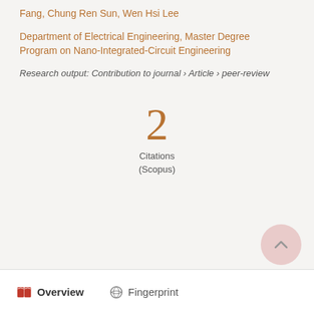Fang, Chung Ren Sun, Wen Hsi Lee
Department of Electrical Engineering, Master Degree Program on Nano-Integrated-Circuit Engineering
Research output: Contribution to journal › Article › peer-review
2
Citations
(Scopus)
Overview   Fingerprint